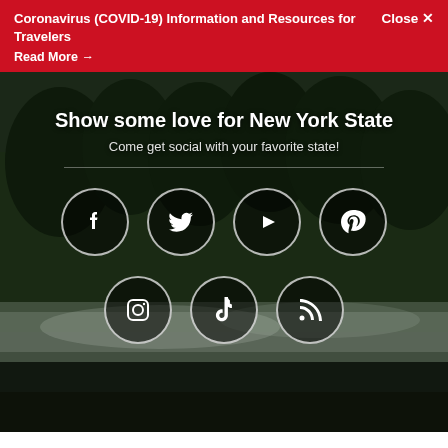Coronavirus (COVID-19) Information and Resources for Travelers
Read More →
Close ✕
Show some love for New York State
Come get social with your favorite state!
[Figure (infographic): Social media icons in white circles on dark forest background: Facebook, Twitter, YouTube, Pinterest (top row); Instagram, TikTok, Blog/RSS (bottom row)]